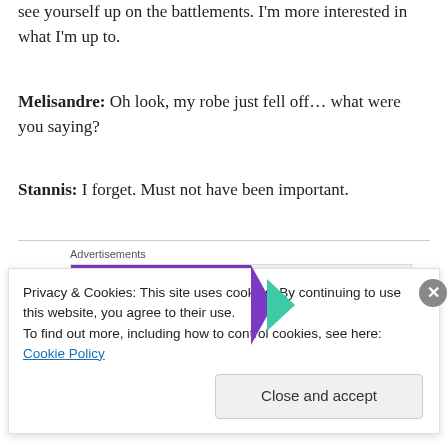see yourself up on the battlements. I'm more interested in what I'm up to.
Melisandre: Oh look, my robe just fell off… what were you saying?
Stannis: I forget. Must not have been important.
[Figure (other): WooCommerce advertisement banner: 'How to start selling subscriptions online']
In general, I don't like prophecies, so I'm reasonably happy that Melisandre is pretty crappy at predicting the
Privacy & Cookies: This site uses cookies. By continuing to use this website, you agree to their use. To find out more, including how to control cookies, see here: Cookie Policy
Close and accept